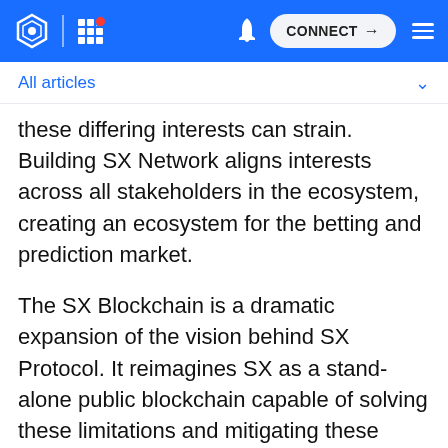CONNECT
All articles
these differing interests can strain. Building SX Network aligns interests across all stakeholders in the ecosystem, creating an ecosystem for the betting and prediction market.
The SX Blockchain is a dramatic expansion of the vision behind SX Protocol. It reimagines SX as a stand-alone public blockchain capable of solving these limitations and mitigating these long-term risks.
We at DappRadar are excited about the integration of SX Protocol into our ecosystem of tracked